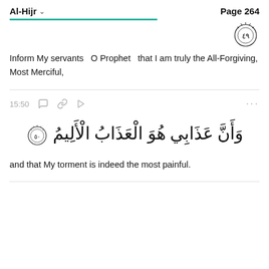Al-Hijr   Page 264
Inform My servants  O Prophet  that I am truly the All-Forgiving, Most Merciful,
15:50
[Figure (illustration): Arabic Quranic verse 50 of Surah Al-Hijr with verse number badge]
and that My torment is indeed the most painful.